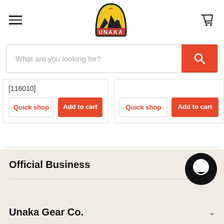[Figure (logo): Unaka mountain logo with orange/yellow arch and mountain silhouette, text UNAKA at bottom]
[116010]
Quick shop | Add to cart (left card)
Quick shop | Add to cart (right card)
Official Business
Unaka Gear Co.